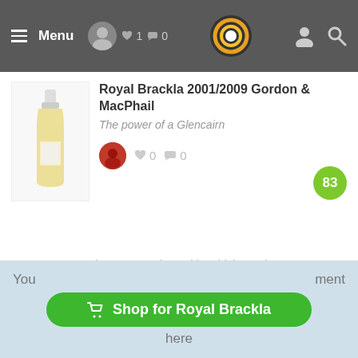Menu | ♥ 1 💬 0 | [logo] | [user icon] [search icon]
Royal Brackla 2001/2009 Gordon & MacPhail
The power of a Glencairn
♥ 0  💬 0  [score: 83]
Read more Royal Brackla whisky reviews
0 comments
You [Shop for Royal Brackla] ment here